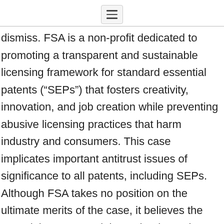[menu icon]
dismiss. FSA is a non-profit dedicated to promoting a transparent and sustainable licensing framework for standard essential patents (“SEPs”) that fosters creativity, innovation, and job creation while preventing abusive licensing practices that harm industry and consumers. This case implicates important antitrust issues of significance to all patents, including SEPs. Although FSA takes no position on the ultimate merits of the case, it believes the Complaint states a claim under the antitrust laws and raises serious issues of particular importance to the